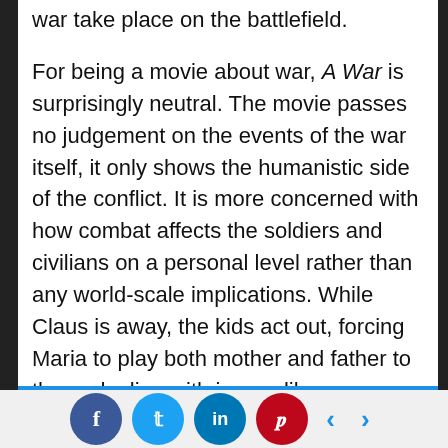war take place on the battlefield.
For being a movie about war, A War is surprisingly neutral. The movie passes no judgement on the events of the war itself, it only shows the humanistic side of the conflict. It is more concerned with how combat affects the soldiers and civilians on a personal level rather than any world-scale implications. While Claus is away, the kids act out, forcing Maria to play both mother and father to them, dealing with issues like schoolyard fights and rebellious children that, if Claus were present, would be easy to squash. Claus himself is torn between possibly sacrificing the lives of his soldiers and giving an order that may or may not lead to heavy civilian